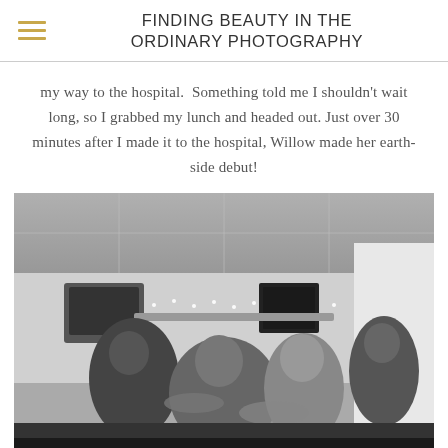FINDING BEAUTY IN THE ORDINARY PHOTOGRAPHY
my way to the hospital.  Something told me I shouldn't wait long, so I grabbed my lunch and headed out. Just over 30 minutes after I made it to the hospital, Willow made her earth-side debut!
[Figure (photo): Black and white photograph of a hospital birth scene showing a woman in labor being supported by multiple people in a hospital room with fairy lights on the wall.]